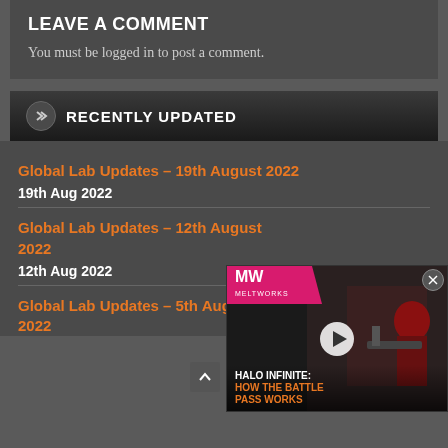LEAVE A COMMENT
You must be logged in to post a comment.
RECENTLY UPDATED
Global Lab Updates – 19th August 2022
19th Aug 2022
Global Lab Updates – [12th August] 2022
12th Aug 2022
Global Lab Updates – 5th August 2022
[Figure (screenshot): Video thumbnail overlay showing 'HALO INFINITE: HOW THE BATTLE PASS WORKS' with MW logo and play button]